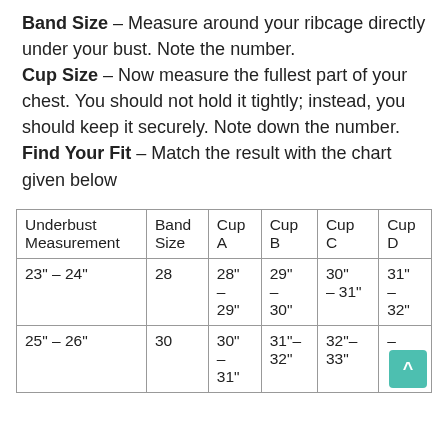Band Size – Measure around your ribcage directly under your bust. Note the number. Cup Size – Now measure the fullest part of your chest. You should not hold it tightly; instead, you should keep it securely. Note down the number. Find Your Fit – Match the result with the chart given below
| Underbust Measurement | Band Size | Cup A | Cup B | Cup C | Cup D |
| --- | --- | --- | --- | --- | --- |
| 23" – 24" | 28 | 28" – 29" | 29" – 30" | 30" – 31" | 31" – 32" |
| 25" – 26" | 30 | 30" – 31" | 31"– 32" | 32"– 33" | – |